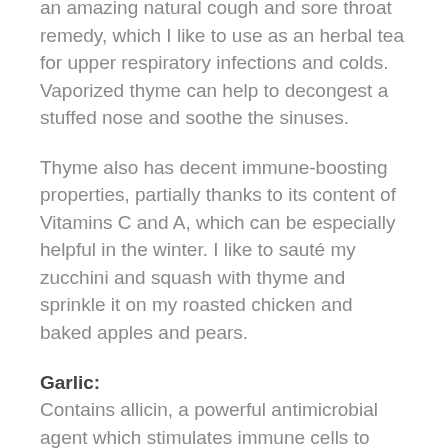an amazing natural cough and sore throat remedy, which I like to use as an herbal tea for upper respiratory infections and colds. Vaporized thyme can help to decongest a stuffed nose and soothe the sinuses.
Thyme also has decent immune-boosting properties, partially thanks to its content of Vitamins C and A, which can be especially helpful in the winter. I like to sauté my zucchini and squash with thyme and sprinkle it on my roasted chicken and baked apples and pears.
Garlic:
Contains allicin, a powerful antimicrobial agent which stimulates immune cells to perform better. Many studies have shown that people who used some garlic daily in